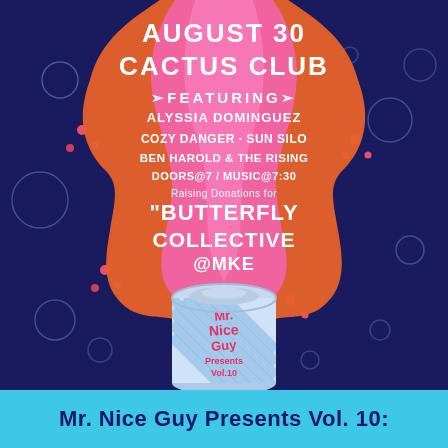[Figure (illustration): Event poster for Mr. Nice Guy Presents Vol. 10. Dark navy blue background with bubbles/circles. A large orange and pink liquid/lava shape erupts from a soda can in the center-bottom. The can is blue and white striped with 'Mr. Nice Guy Presents Vol. 10' written on it in pink. White handwritten-style text overlaid on the liquid shape reads: 'August 30 / Cactus Club / Featuring / Alyssia Dominguez / Cozy Danger · Sun Silo / Ben Harold & The Rising / Doors@7 / Music@7:30 / Raising Donations for / Butterfly Collective MKe']
Mr. Nice Guy Presents Vol. 10: